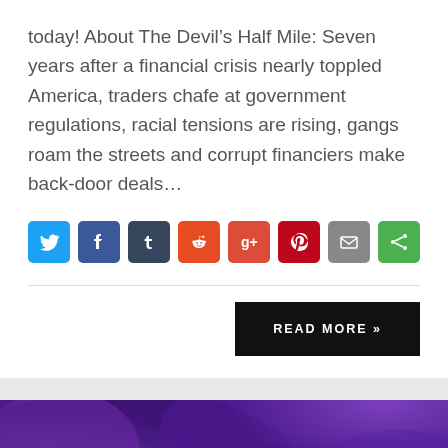today! About The Devil's Half Mile: Seven years after a financial crisis nearly toppled America, traders chafe at government regulations, racial tensions are rising, gangs roam the streets and corrupt financiers make back-door deals…
[Figure (infographic): Row of social share buttons: Twitter (blue), Facebook (dark blue), Tumblr (dark navy), Reddit (orange-red), Google+ (red), Pinterest (dark red), Email (grey), Share (green)]
[Figure (other): READ MORE >> button, black background, white uppercase text]
[Figure (photo): Purple/violet blurred bokeh background image, partial view at bottom of page]